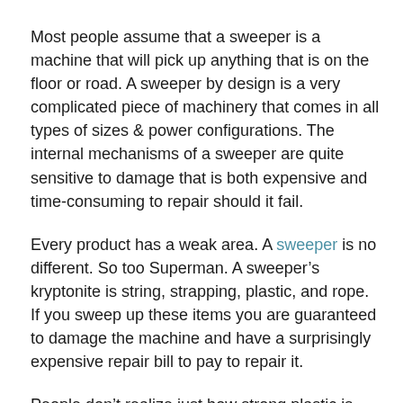Most people assume that a sweeper is a machine that will pick up anything that is on the floor or road. A sweeper by design is a very complicated piece of machinery that comes in all types of sizes & power configurations. The internal mechanisms of a sweeper are quite sensitive to damage that is both expensive and time-consuming to repair should it fail.
Every product has a weak area. A sweeper is no different. So too Superman. A sweeper’s kryptonite is string, strapping, plastic, and rope. If you sweep up these items you are guaranteed to damage the machine and have a surprisingly expensive repair bill to pay to repair it.
People don’t realize just how strong plastic is. Plastic, rope, and cable once wound into a machine can become as strong as steel and can cut any bearing in half in just a matter of weeks. Traditional Sweepers have 2 groups of